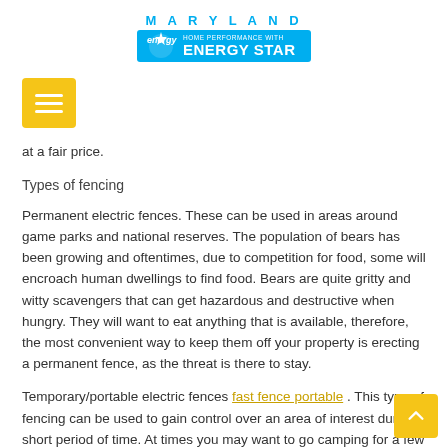[Figure (logo): Maryland Home Performance with ENERGY STAR logo — blue background rectangle with 'MARYLAND' text above, Energy Star logo and 'HOME PERFORMANCE WITH ENERGY STAR' text inside.]
at a fair price.
Types of fencing
Permanent electric fences. These can be used in areas around game parks and national reserves. The population of bears has been growing and oftentimes, due to competition for food, some will encroach human dwellings to find food. Bears are quite gritty and witty scavengers that can get hazardous and destructive when hungry. They will want to eat anything that is available, therefore, the most convenient way to keep them off your property is erecting a permanent fence, as the threat is there to stay.
Temporary/portable electric fences fast fence portable . This type of fencing can be used to gain control over an area of interest during a short period of time. At times you may want to go camping for a few weeks or a month near or in forests where bears pose a problem. This